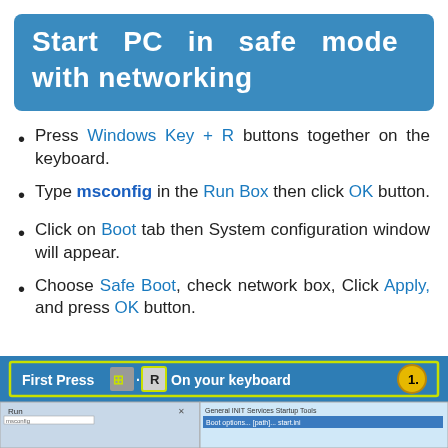Start PC in safe mode with networking
Press Windows Key + R buttons together on the keyboard.
Type msconfig in the Run Box then click OK button.
Click on Boot tab then System configuration window will appear.
Choose Safe Boot, check network box, Click Apply, and press OK button.
[Figure (screenshot): Screenshot showing First Press Windows Key + R On your keyboard step 1, with Run dialog and System Configuration window visible below]